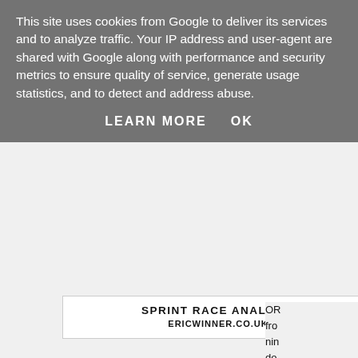This site uses cookies from Google to deliver its services and to analyze traffic. Your IP address and user-agent are shared with Google along with performance and security metrics to ensure quality of service, generate usage statistics, and to detect and address abuse.
LEARN MORE   OK
[Figure (logo): Sprint Race Analysis logo with text ERICWINNER.CO.UK]
OR from nin dow qui wo rec
IDOAPOLOGISE 12/1 hasn't any form on this course a when racing over a longer distance and I think this is c especially if its as low as the tissue price forecast of fi